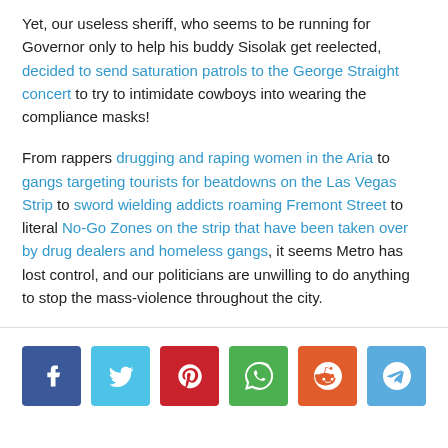Yet, our useless sheriff, who seems to be running for Governor only to help his buddy Sisolak get reelected, decided to send saturation patrols to the George Straight concert to try to intimidate cowboys into wearing the compliance masks!
From rappers drugging and raping women in the Aria to gangs targeting tourists for beatdowns on the Las Vegas Strip to sword wielding addicts roaming Fremont Street to literal No-Go Zones on the strip that have been taken over by drug dealers and homeless gangs, it seems Metro has lost control, and our politicians are unwilling to do anything to stop the mass-violence throughout the city.
[Figure (other): Social sharing buttons: Facebook, Twitter, Pinterest, WhatsApp, Reddit, Telegram]